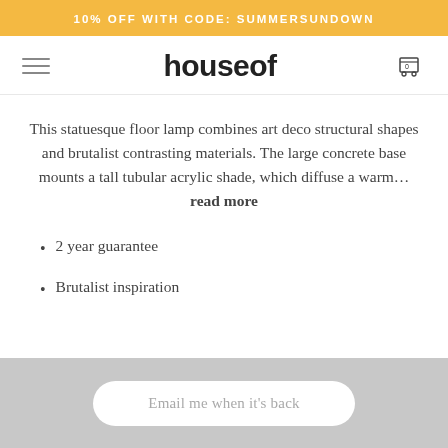10% OFF WITH CODE: SUMMERSUNDOWN
houseof
This statuesque floor lamp combines art deco structural shapes and brutalist contrasting materials. The large concrete base mounts a tall tubular acrylic shade, which diffuse a warm... read more
2 year guarantee
Brutalist inspiration
Email me when it's back